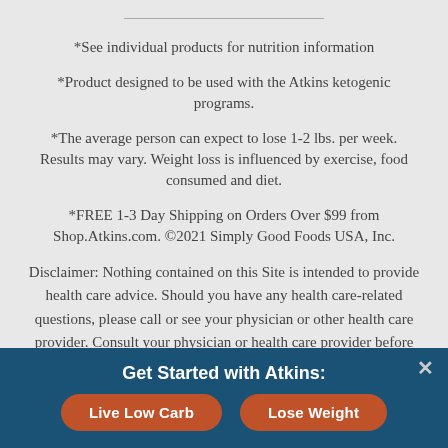*See individual products for nutrition information
*Product designed to be used with the Atkins ketogenic programs.
*The average person can expect to lose 1-2 lbs. per week. Results may vary. Weight loss is influenced by exercise, food consumed and diet.
*FREE 1-3 Day Shipping on Orders Over $99 from Shop.Atkins.com. ©2021 Simply Good Foods USA, Inc.
Disclaimer: Nothing contained on this Site is intended to provide health care advice. Should you have any health care-related questions, please call or see your physician or other health care provider. Consult your physician or health care provider before beginning the Atkins Diet as you would any other weight loss or weight maintenance program. The weight loss phases of the Atkins...
Get Started with Atkins:
Live Low Carb
Lose Weight